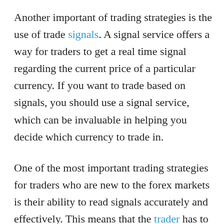Another important of trading strategies is the use of trade signals. A signal service offers a way for traders to get a real time signal regarding the current price of a particular currency. If you want to trade based on signals, you should use a signal service, which can be invaluable in helping you decide which currency to trade in.
One of the most important trading strategies for traders who are new to the forex markets is their ability to read signals accurately and effectively. This means that the trader has to have some knowledge about the forex market and about forex trading before they start using these services. In the beginning, a trader will have